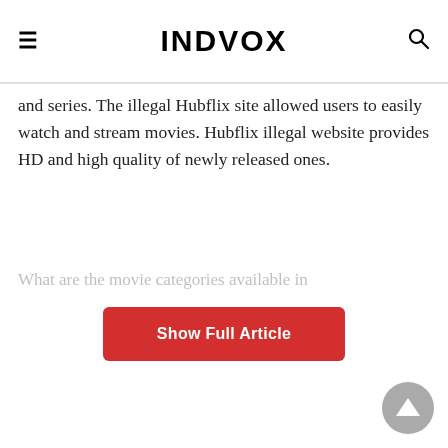INDVOX
and series. The illegal Hubflix site allowed users to easily watch and stream movies. Hubflix illegal website provides HD and high quality of newly released ones.
What are the movie categories available in
[Figure (other): Red 'Show Full Article' button overlay blocking article content]